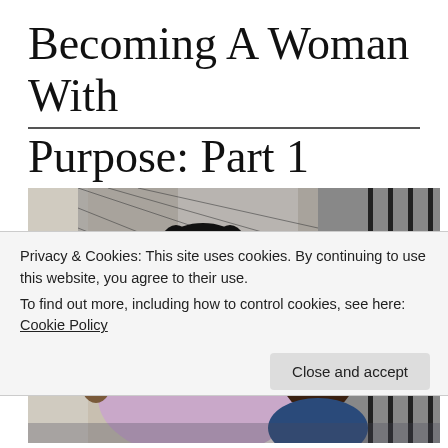Becoming A Woman With Purpose: Part 1
[Figure (photo): A smiling woman with black braided hair and glasses wearing a lavender cold-shoulder top, posing with a young girl with hair in a bun, standing in front of a door with iron gate and white walls.]
Privacy & Cookies: This site uses cookies. By continuing to use this website, you agree to their use.
To find out more, including how to control cookies, see here: Cookie Policy
Close and accept